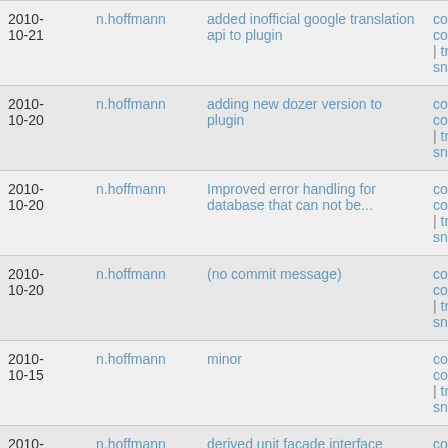| Date | Author | Message | Links |
| --- | --- | --- | --- |
| 2010-10-21 | n.hoffmann | added inofficial google translation api to plugin | commit | commitdiff | tree | snapshot |
| 2010-10-20 | n.hoffmann | adding new dozer version to plugin | commit | commitdiff | tree | snapshot |
| 2010-10-20 | n.hoffmann | Improved error handling for database that can not be... | commit | commitdiff | tree | snapshot |
| 2010-10-20 | n.hoffmann | (no commit message) | commit | commitdiff | tree | snapshot |
| 2010-10-15 | n.hoffmann | minor | commit | commitdiff | tree | snapshot |
| 2010-10-15 | n.hoffmann | derived unit facade interface elements nearly complete | commit | commitdiff |